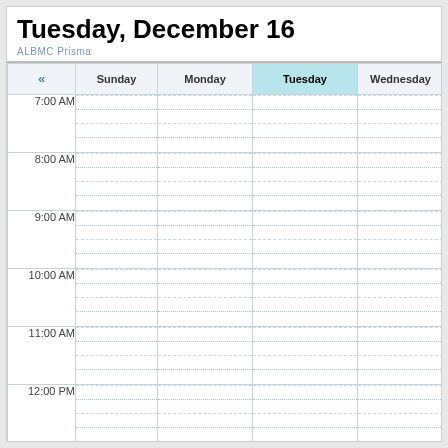Tuesday, December 16
ALBMC Prisma
| « |  | Sunday | Monday | Tuesday | Wednesday |
| --- | --- | --- | --- | --- | --- |
| 7:00 AM |  |  |  |  |  |
| 8:00 AM |  |  |  |  |  |
| 9:00 AM |  |  |  |  |  |
| 10:00 AM |  |  |  |  |  |
| 11:00 AM |  |  |  |  |  |
| 12:00 PM |  |  |  |  |  |
| 1:00 PM |  |  |  |  |  |